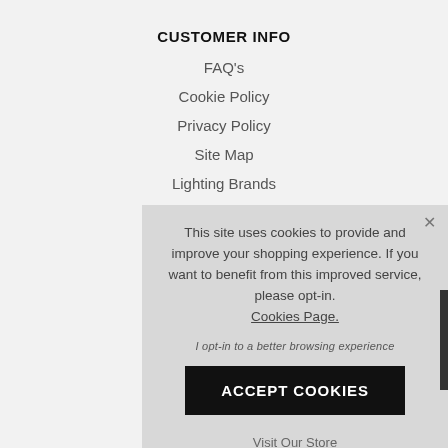CUSTOMER INFO
FAQ's
Cookie Policy
Privacy Policy
Site Map
Lighting Brands
This site uses cookies to provide and improve your shopping experience. If you want to benefit from this improved service, please opt-in. Cookies Page.
I opt-in to a better browsing experience
ACCEPT COOKIES
Visit Our Store